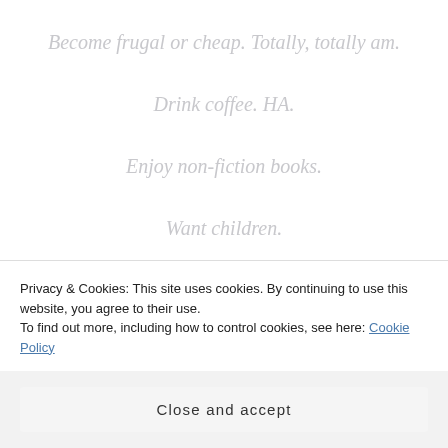Become frugal or cheap.  Totally, totally am.
Drink coffee. HA.
Enjoy non-fiction books.
Want children.
Believe I was beautiful.
Lose some of my first friends….that's just life.
Privacy & Cookies: This site uses cookies. By continuing to use this website, you agree to their use. To find out more, including how to control cookies, see here: Cookie Policy
Close and accept